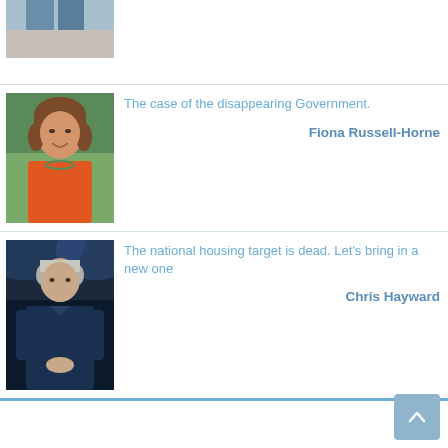[Figure (photo): Cropped bottom portion of a person in jeans/casual clothes, partially visible]
The case of the disappearing Government.
Fiona Russell-Horne
[Figure (photo): Woman with short brown hair wearing orange top and green necklace, smiling]
The national housing target is dead. Let’s bring in a new one
Chris Hayward
[Figure (photo): Man in dark polo shirt speaking at an event, microphone visible, stage lighting in background]